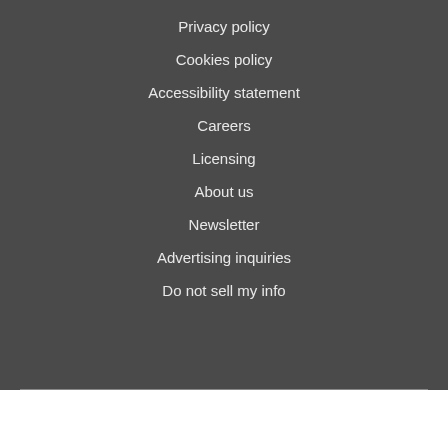Privacy policy
Cookies policy
Accessibility statement
Careers
Licensing
About us
Newsletter
Advertising inquiries
Do not sell my info